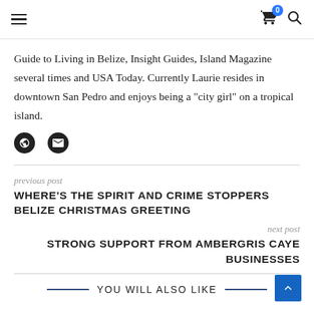Navigation header with hamburger menu, cart icon (badge: 0), and search icon
Guide to Living in Belize, Insight Guides, Island Magazine several times and USA Today. Currently Laurie resides in downtown San Pedro and enjoys being a "city girl" on a tropical island.
previous post
WHERE'S THE SPIRIT AND CRIME STOPPERS BELIZE CHRISTMAS GREETING
next post
STRONG SUPPORT FROM AMBERGRIS CAYE BUSINESSES
YOU WILL ALSO LIKE